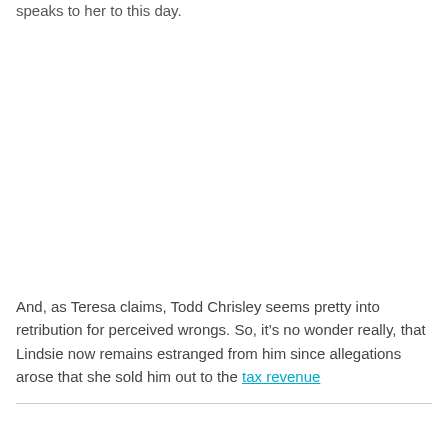speaks to her to this day.
And, as Teresa claims, Todd Chrisley seems pretty into retribution for perceived wrongs. So, it’s no wonder really, that Lindsie now remains estranged from him since allegations arose that she sold him out to the tax revenue